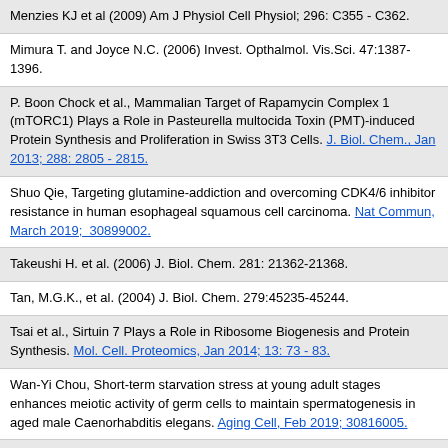Menzies KJ et al (2009) Am J Physiol Cell Physiol; 296: C355 - C362.
Mimura T. and Joyce N.C. (2006) Invest. Opthalmol. Vis.Sci. 47:1387-1396.
P. Boon Chock et al., Mammalian Target of Rapamycin Complex 1 (mTORC1) Plays a Role in Pasteurella multocida Toxin (PMT)-induced Protein Synthesis and Proliferation in Swiss 3T3 Cells. J. Biol. Chem., Jan 2013; 288: 2805 - 2815.
Shuo Qie, Targeting glutamine-addiction and overcoming CDK4/6 inhibitor resistance in human esophageal squamous cell carcinoma. Nat Commun, March 2019;  30899002.
Takeushi H. et al. (2006) J. Biol. Chem. 281: 21362-21368.
Tan, M.G.K., et al. (2004) J. Biol. Chem. 279:45235-45244.
Tsai et al., Sirtuin 7 Plays a Role in Ribosome Biogenesis and Protein Synthesis. Mol. Cell. Proteomics, Jan 2014; 13: 73 - 83.
Wan-Yi Chou, Short-term starvation stress at young adult stages enhances meiotic activity of germ cells to maintain spermatogenesis in aged male Caenorhabditis elegans. Aging Cell, Feb 2019; 30816005.
Xiaokun Geng et al., Synergetic Neuroprotection of Normobaric Oxygenation and Ethanol in Ischemic Stroke Through Improved Oxidative Mechanism. Stroke, May 2013; 44: 1418 - 1425.